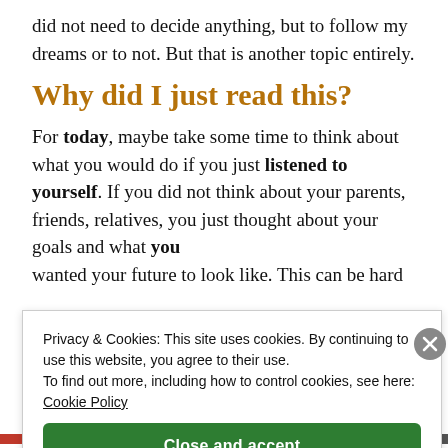did not need to decide anything, but to follow my dreams or to not. But that is another topic entirely.
Why did I just read this?
For today, maybe take some time to think about what you would do if you just listened to yourself. If you did not think about your parents, friends, relatives, you just thought about your goals and what you wanted your future to look like. This can be hard
Privacy & Cookies: This site uses cookies. By continuing to use this website, you agree to their use.
To find out more, including how to control cookies, see here: Cookie Policy
Close and accept